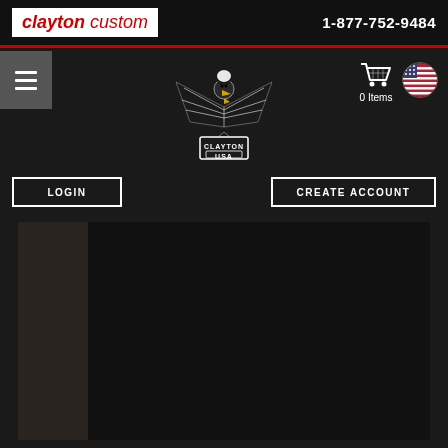clayton custom | 1-877-752-9484
[Figure (logo): Clayton USA eagle logo with wings spread and banner reading CLAYTON USA]
0 Items
LOGIN
CREATE ACCOUNT
[Figure (photo): Dark background content area, mostly black/dark brown]